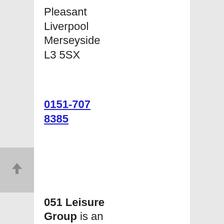Pleasant
Liverpool
Merseyside
L3 5SX
0151-707 8385
051 Leisure Group is an